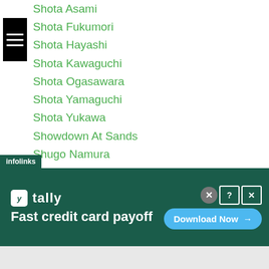Shota Asami
Shota Fukumori
Shota Hayashi
Shota Kawaguchi
Shota Ogasawara
Shota Yamaguchi
Shota Yukawa
Showdown At Sands
Shugo Namura
Shuhei Tsuchiya
Shuichiro Yoshino
Shuji Kato
Shuji Nagata
Shukurjon Rahimov
Shukurjon Rakhimov
Shuma Nakazato
[Figure (screenshot): Advertisement banner for Tally app: 'Fast credit card payoff' with 'Download Now' button on dark green background. Infolinks label visible at top-left of ad.]